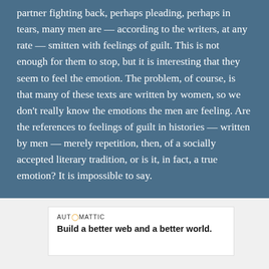partner fighting back, perhaps pleading, perhaps in tears, many men are — according to the writers, at any rate — smitten with feelings of guilt. This is not enough for them to stop, but it is interesting that they seem to feel the emotion. The problem, of course, is that many of these texts are written by women, so we don't really know the emotions the men are feeling. Are the references to feelings of guilt in histories — written by men — merely repetition, then, of a socially accepted literary tradition, or is it, in fact, a true emotion? It is impossible to say.

This brings up the question: Are they in fact doing what
[Figure (other): Advertisement overlay with Automattic branding. White box with text 'AUTOMATTIC' and tagline 'Build a better web and a better world.' A close/dismiss button (circled X) appears at the top right of the ad.]